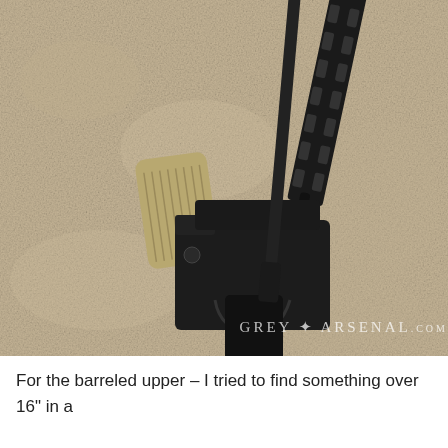[Figure (photo): Photograph of two AR-style rifle components laid on a beige carpet: a tan/FDE pistol grip lower receiver and a black barreled upper receiver with M-LOK handguard. Watermark reads 'GREY ARSENAL.COM' in the lower right corner.]
For the barreled upper – I tried to find something over 16" in a